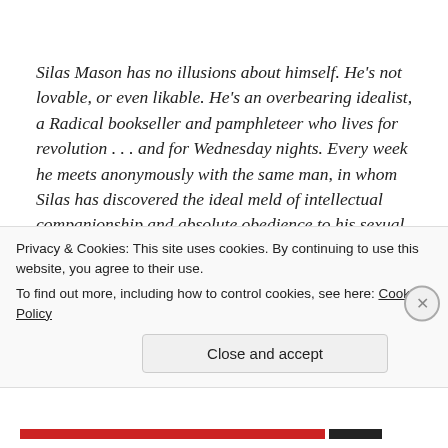Silas Mason has no illusions about himself. He's not lovable, or even likable. He's an overbearing idealist, a Radical bookseller and pamphleteer who lives for revolution . . . and for Wednesday nights. Every week he meets anonymously with the same man, in whom Silas has discovered the ideal meld of intellectual companionship and absolute obedience to his sexual commands. But unbeknownst to Silas. his
Privacy & Cookies: This site uses cookies. By continuing to use this website, you agree to their use.
To find out more, including how to control cookies, see here: Cookie Policy
Close and accept